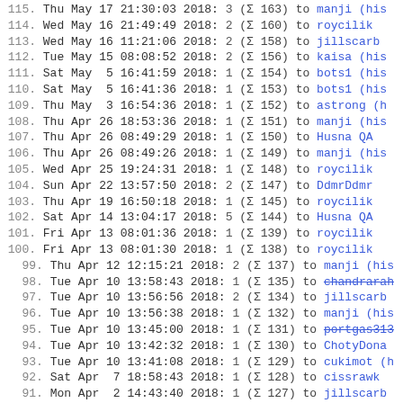115. Thu May 17 21:30:03 2018: 3 (Σ 163) to manji (his
114. Wed May 16 21:49:49 2018: 2 (Σ 160) to roycilik
113. Wed May 16 11:21:06 2018: 2 (Σ 158) to jillscarb
112. Tue May 15 08:08:52 2018: 2 (Σ 156) to kaisa (his
111. Sat May  5 16:41:59 2018: 1 (Σ 154) to bots1 (his
110. Sat May  5 16:41:36 2018: 1 (Σ 153) to bots1 (his
109. Thu May  3 16:54:36 2018: 1 (Σ 152) to astrong (h
108. Thu Apr 26 18:53:36 2018: 1 (Σ 151) to manji (his
107. Thu Apr 26 08:49:29 2018: 1 (Σ 150) to Husna QA
106. Thu Apr 26 08:49:26 2018: 1 (Σ 149) to manji (his
105. Wed Apr 25 19:24:31 2018: 1 (Σ 148) to roycilik
104. Sun Apr 22 13:57:50 2018: 2 (Σ 147) to DdmrDdmr
103. Thu Apr 19 16:50:18 2018: 1 (Σ 145) to roycilik
102. Sat Apr 14 13:04:17 2018: 5 (Σ 144) to Husna QA
101. Fri Apr 13 08:01:36 2018: 1 (Σ 139) to roycilik
100. Fri Apr 13 08:01:30 2018: 1 (Σ 138) to roycilik
99.  Thu Apr 12 12:15:21 2018: 2 (Σ 137) to manji (his
98.  Tue Apr 10 13:58:43 2018: 1 (Σ 135) to chandrarah [strikethrough]
97.  Tue Apr 10 13:56:56 2018: 2 (Σ 134) to jillscarb
96.  Tue Apr 10 13:56:38 2018: 1 (Σ 132) to manji (his
95.  Tue Apr 10 13:45:00 2018: 1 (Σ 131) to portgas313 [strikethrough]
94.  Tue Apr 10 13:42:32 2018: 1 (Σ 130) to ChotyDona
93.  Tue Apr 10 13:41:08 2018: 1 (Σ 129) to cukimot (h
92.  Sat Apr  7 18:58:43 2018: 1 (Σ 128) to cissrawk
91.  Mon Apr  2 14:43:40 2018: 1 (Σ 127) to jillscarb
90.  Mon Apr  2 14:43:26 2018: 1 (Σ 126) to rezaunix
89.  Mon Apr  2 14:42:49 2018: 1 (Σ 125) to abhiseshab
88.  Mon Apr  2 12:38:24 2018: 5 (Σ 124) to Husna QA
87.  Mon Apr  2 12:37:56 2018: 5 (Σ 119) to jillscarb
86.  Mon Apr  2 12:31:13 2018: 1 (Σ 114) to manji (his
85.  Mon Apr  2 12:10:10 2018: 5 (Σ 110) to Dill...